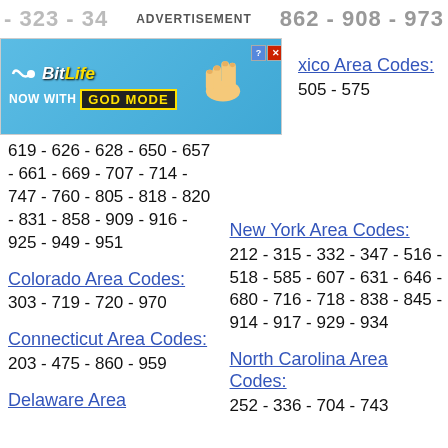- 323 - 34 ADVERTISEMENT 862 - 90 8 - 973
[Figure (screenshot): BitLife 'Now with God Mode' advertisement banner with cartoon hand pointing]
619 - 626 - 628 - 650 - 657 - 661 - 669 - 707 - 714 - 747 - 760 - 805 - 818 - 820 - 831 - 858 - 909 - 916 - 925 - 949 - 951
Colorado Area Codes:
303 - 719 - 720 - 970
Connecticut Area Codes:
203 - 475 - 860 - 959
Delaware Area
xico Area Codes:
505 - 575
New York Area Codes:
212 - 315 - 332 - 347 - 516 - 518 - 585 - 607 - 631 - 646 - 680 - 716 - 718 - 838 - 845 - 914 - 917 - 929 - 934
North Carolina Area Codes:
252 - 336 - 704 - 743